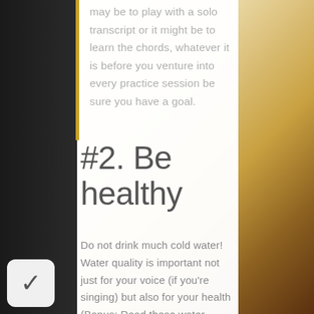may be to play with a solo transcript or it might be to learn the chords, whatever it is before you venture into every practice session be sure you have a goal.
#2. Be healthy
Do not drink much cold water! Water quality is important not just for your voice (if you're singing) but also for your health (Bonus: Read these water softener reviews ).